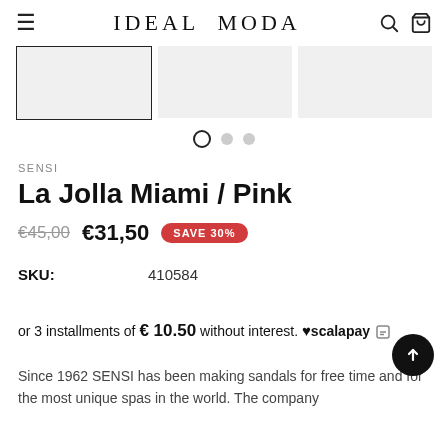IDEAL MODA
[Figure (screenshot): Three product image thumbnails in a carousel, first one with a black border indicating active selection, others are plain light grey placeholders]
SENSI
La Jolla Miami / Pink
€45,00  €31,50  SAVE 30%
SKU:  410584
or 3 installments of € 10.50 without interest. ♥ scalapay
Since 1962 SENSI has been making sandals for free time and for the most unique spas in the world. The company